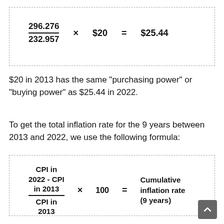$20 in 2013 has the same "purchasing power" or "buying power" as $25.44 in 2022.
To get the total inflation rate for the 9 years between 2013 and 2022, we use the following formula: